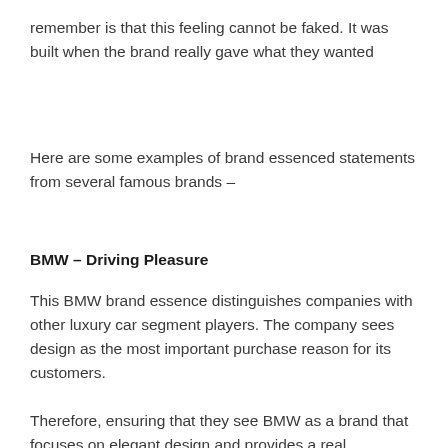remember is that this feeling cannot be faked. It was built when the brand really gave what they wanted
Here are some examples of brand essenced statements from several famous brands –
BMW – Driving Pleasure
This BMW brand essence distinguishes companies with other luxury car segment players. The company sees design as the most important purchase reason for its customers.
Therefore, ensuring that they see BMW as a brand that focuses on elegant design and provides a real